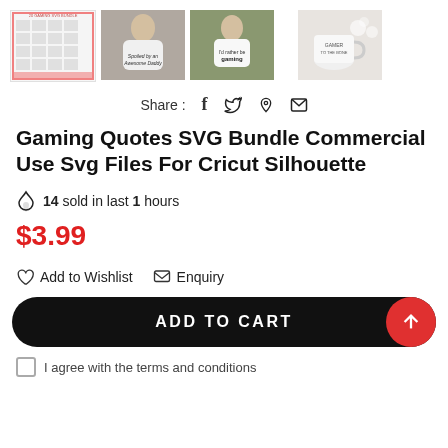[Figure (photo): Four product thumbnail images: (1) Gaming SVG Bundle sheet with pink border, (2) child wearing 'Spoiled by an Awesome Daddy' t-shirt, (3) child wearing gaming t-shirt outdoors, (4) white mug with gamer design and flowers]
Share :  f  𝕡  ✉
Gaming Quotes SVG Bundle Commercial Use Svg Files For Cricut Silhouette
🔥 14 sold in last 1 hours
$3.99
♡ Add to Wishlist   ✉ Enquiry
ADD TO CART
I agree with the terms and conditions